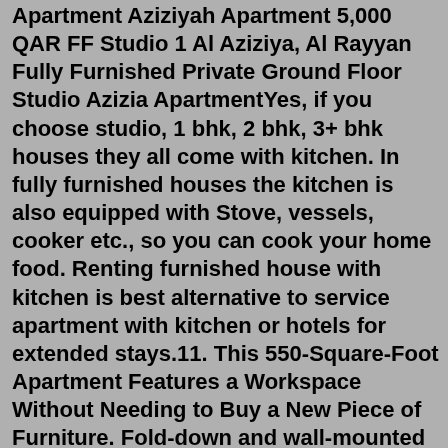Apartment Aziziyah Apartment 5,000 QAR FF Studio 1 Al Aziziya, Al Rayyan Fully Furnished Private Ground Floor Studio Azizia ApartmentYes, if you choose studio, 1 bhk, 2 bhk, 3+ bhk houses they all come with kitchen. In fully furnished houses the kitchen is also equipped with Stove, vessels, cooker etc., so you can cook your home food. Renting furnished house with kitchen is best alternative to service apartment with kitchen or hotels for extended stays.11. This 550-Square-Foot Apartment Features a Workspace Without Needing to Buy a New Piece of Furniture. Fold-down and wall-mounted desks are great for creating a home office in a small space, but you definitely don't have to spend a lot of money or even buy anything new to create a space to work from home.Kilburn, London. JUST 2 WEEKS OF DEPOSITS Suitable 2 Double and Single room at Zone 2, Kilburn,Wilsdengreen,NW2 6UJ in 550,585PCM Minimum CONTRACT : 6 MONTHS Amenities ✓Electric Bill ✓Water Bill ✓High Speed Internet Bill ✓Parking Provided ✓ some more